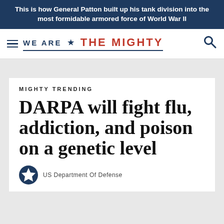This is how General Patton built up his tank division into the most formidable armored force of World War II
[Figure (logo): We Are The Mighty website logo with hamburger menu and search icon]
MIGHTY TRENDING
DARPA will fight flu, addiction, and poison on a genetic level
US Department Of Defense